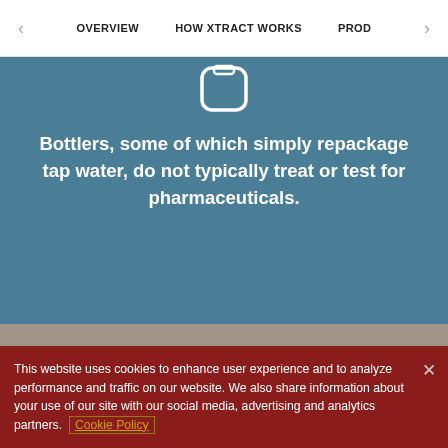< OVERVIEW   HOW XTRACT WORKS   PROD >
[Figure (illustration): Partial icon of a rounded-rectangle shape (bottle/container icon) in white outline on teal/blue background]
Bottlers, some of which simply repackage tap water, do not typically treat or test for pharmaceuticals.
This website uses cookies to enhance user experience and to analyze performance and traffic on our website. We also share information about your use of our site with our social media, advertising and analytics partners. Cookie Policy
Cookie Settings
Accept Cookies